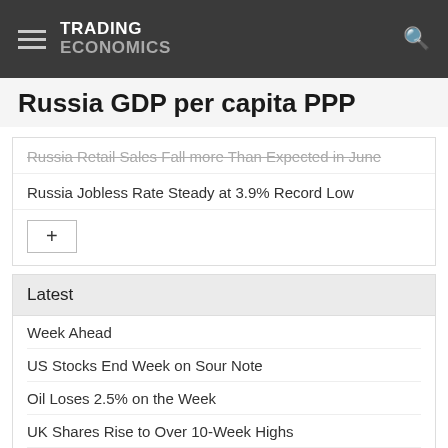TRADING ECONOMICS
Russia GDP per capita PPP
Russia Retail Sales Fall more Than Expected in June
Russia Jobless Rate Steady at 3.9% Record Low
Latest
Week Ahead
US Stocks End Week on Sour Note
Oil Loses 2.5% on the Week
UK Shares Rise to Over 10-Week Highs
South African Stocks Close Deeply in the Red
Russian Stocks Pare Losses
French Stocks End on Negative Note